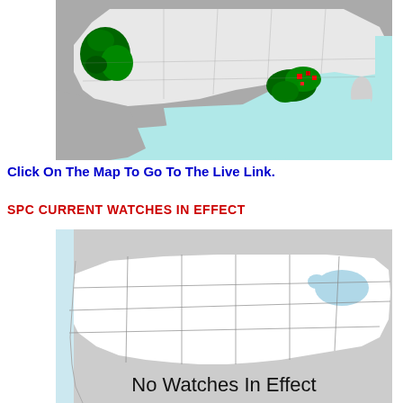[Figure (map): US map showing SPC storm reports with green highlighted regions in California and Gulf Coast area near Louisiana/Mississippi, red markers near Gulf Coast, and cyan/teal ocean areas.]
Click On The Map To Go To The Live Link.
SPC CURRENT WATCHES IN EFFECT
[Figure (map): US map showing no current watches in effect. Map shows state outlines in white on light background with gray Canada region. Text reads 'No Watches In Effect'.]